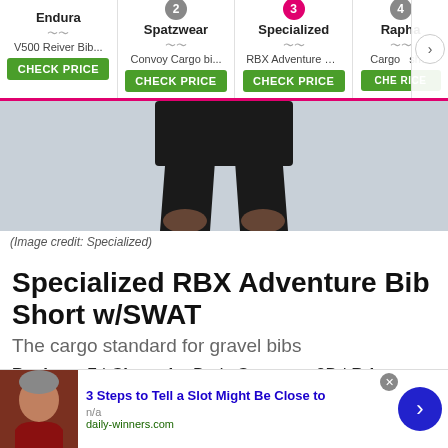[Figure (screenshot): Navigation bar with product comparison tabs: Endura (V500 Reiver Bib...), 2 Spatzwear (Convoy Cargo bi...), 3 Specialized (RBX Adventure Bi...) highlighted in pink, 4 Rapha (Cargo ... short), each with CHECK PRICE button]
[Figure (photo): Photo of person wearing Specialized RBX Adventure Bib Short, showing lower body with black cycling bib shorts against grey background]
(Image credit: Specialized)
Specialized RBX Adventure Bib Short w/SWAT
The cargo standard for gravel bibs
Pockets: 7 | Chamois: Body Geometry 3D | Price: £100.00 / $180.00 / €139.90
[Figure (screenshot): Ad overlay: photo of man, text '3 Steps to Tell a Slot Might Be Close to' in blue bold, 'n/a', 'daily-winners.com' in green, blue arrow button on right, close X button]